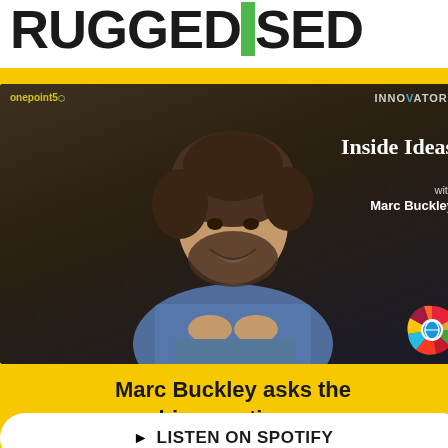RUGGEDISED
Designing sma...
resilient cities f...
FINAL E...
@Recharge Ec...
6 September 2...
[Figure (photo): Colorful geometric shapes - pink, purple, teal on dark background, bottom of event banner]
[Figure (screenshot): Yellow popup overlay showing a podcast advertisement. Contains podcast cover image with a man with curly hair and beard in denim shirt, text 'Inside Ideas with Marc Buckley', 'onepoint5' and 'INNOVATORS' logos, SDG wheel logo in corner. Yellow background with text 'Marc Buckley asks the big questions.' and white button 'LISTEN ON SPOTIFY']
Marc Buckley asks the big questions.
LISTEN ON SPOTIFY
This website uses cookies to im...
some information using Goo...